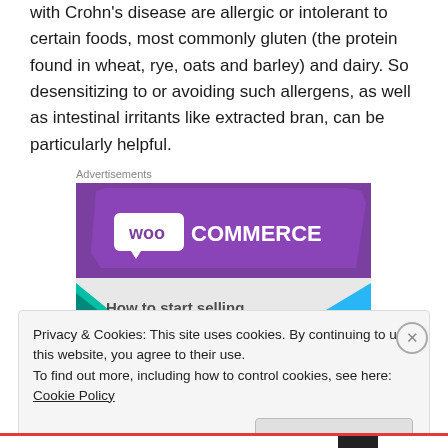with Crohn's disease are allergic or intolerant to certain foods, most commonly gluten (the protein found in wheat, rye, oats and barley) and dairy. So desensitizing to or avoiding such allergens, as well as intestinal irritants like extracted bran, can be particularly helpful.
Advertisements
[Figure (screenshot): WooCommerce advertisement banner showing the WooCommerce logo on a purple background with teal and light blue geometric shapes, and partially visible text 'How to start selling']
Privacy & Cookies: This site uses cookies. By continuing to use this website, you agree to their use.
To find out more, including how to control cookies, see here: Cookie Policy
Close and accept